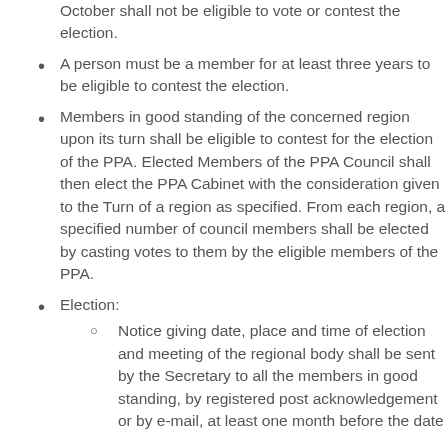October shall not be eligible to vote or contest the election.
A person must be a member for at least three years to be eligible to contest the election.
Members in good standing of the concerned region upon its turn shall be eligible to contest for the election of the PPA. Elected Members of the PPA Council shall then elect the PPA Cabinet with the consideration given to the Turn of a region as specified. From each region, a specified number of council members shall be elected by casting votes to them by the eligible members of the PPA.
Election:
Notice giving date, place and time of election and meeting of the regional body shall be sent by the Secretary to all the members in good standing, by registered post acknowledgement or by e-mail, at least one month before the date